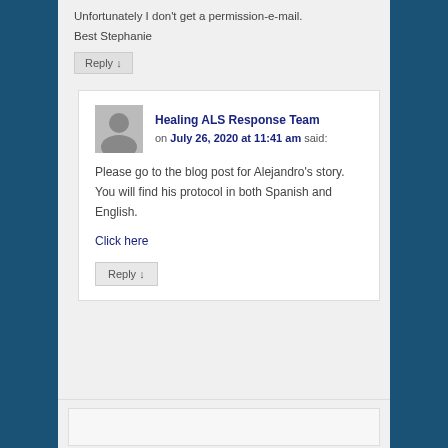Unfortunately I don't get a permission-e-mail.
Best Stephanie
Reply ↓
Healing ALS Response Team on July 26, 2020 at 11:41 am said:
Please go to the blog post for Alejandro's story. You will find his protocol in both Spanish and English.
Click here
Reply ↓